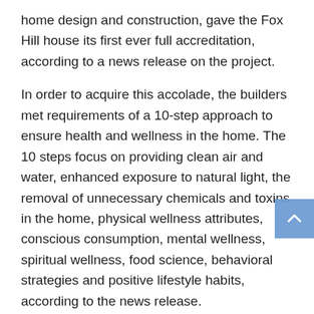home design and construction, gave the Fox Hill house its first ever full accreditation, according to a news release on the project.
In order to acquire this accolade, the builders met requirements of a 10-step approach to ensure health and wellness in the home. The 10 steps focus on providing clean air and water, enhanced exposure to natural light, the removal of unnecessary chemicals and toxins in the home, physical wellness attributes, conscious consumption, mental wellness, spiritual wellness, food science, behavioral strategies and positive lifestyle habits, according to the news release.
“It starts from the ground up,” Nettleton said. “We’re trying to make the house as healthy to live in as living in the wilderness. We didn’t want the house to cause any negative health effects.”